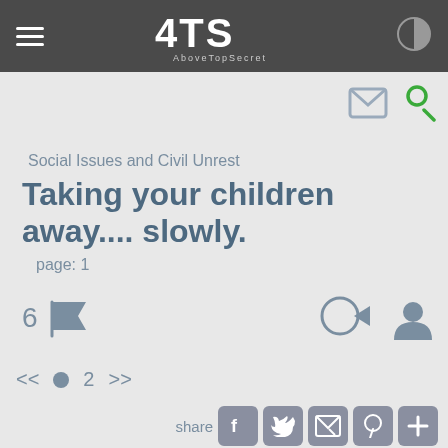ATS AboveTopSecret
Social Issues and Civil Unrest
Taking your children away.... slowly.
page: 1
6
<< 2 >>
share
TruthxIsxInxThexMist
posted on Apr, 18 2013 @ 05:40 PM